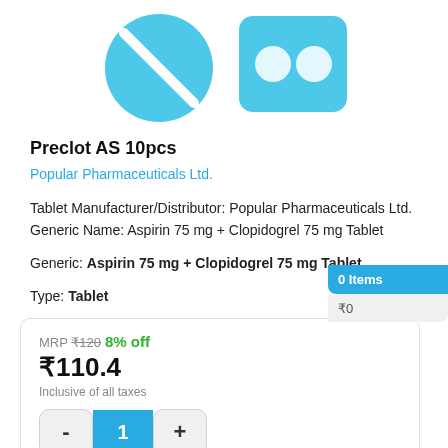[Figure (illustration): Two pharmaceutical tablet illustrations in blue: a round tablet with a diagonal slash line and a rectangular blister pack with two circular holes, both in light blue color]
Preclot AS 10pcs
Popular Pharmaceuticals Ltd.
Tablet Manufacturer/Distributor: Popular Pharmaceuticals Ltd.
Generic Name: Aspirin 75 mg + Clopidogrel 75 mg Tablet
Generic: Aspirin 75 mg + Clopidogrel 75 mg Tablet
Type: Tablet
MRP ₹120 8% off
₹110.4
Inclusive of all taxes
0 Items
₹0